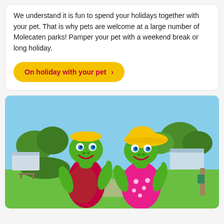We understand it is fun to spend your holidays together with your pet. That is why pets are welcome at a large number of Molecaten parks! Pamper your pet with a weekend break or long holiday.
On holiday with your pet >
[Figure (photo): Two green turtle mascots wearing yellow hats standing outdoors at a holiday park. The left turtle wears a red vest, the right wears a pink floral dress. Both are giving thumbs up and smiling. Sunny day, grass, trees, and park buildings in background.]